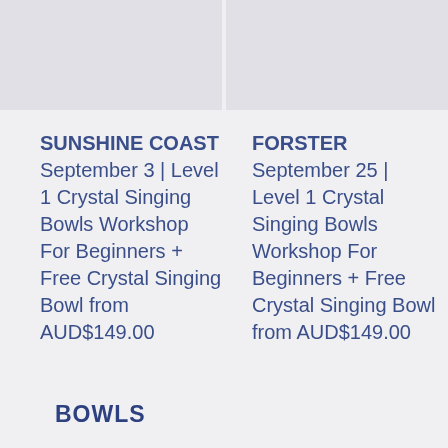[Figure (photo): Placeholder image for Sunshine Coast event]
[Figure (photo): Placeholder image for Forster event]
SUNSHINE COAST September 3 | Level 1 Crystal Singing Bowls Workshop For Beginners + Free Crystal Singing Bowl from AUD$149.00
FORSTER September 25 | Level 1 Crystal Singing Bowls Workshop For Beginners + Free Crystal Singing Bowl from AUD$149.00
BOWLS